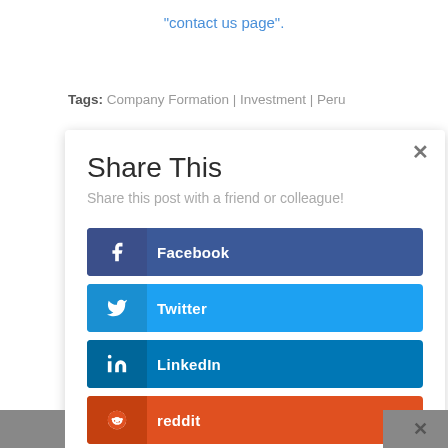"contact us page".
Tags: Company Formation | Investment | Peru
Share This
Share this post with a friend or colleague!
Facebook
Twitter
LinkedIn
reddit